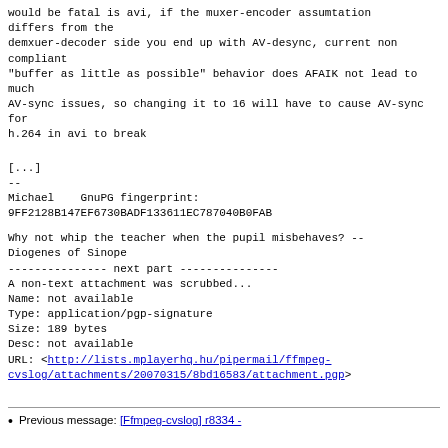would be fatal is avi, if the muxer-encoder assumtation differs from the
demxuer-decoder side you end up with AV-desync, current non compliant
"buffer as little as possible" behavior does AFAIK not lead to much
AV-sync issues, so changing it to 16 will have to cause AV-sync for
h.264 in avi to break
[...]
--
Michael    GnuPG fingerprint:
9FF2128B147EF6730BADF133611EC787040B0FAB
Why not whip the teacher when the pupil misbehaves? --
Diogenes of Sinope
--------------- next part ---------------
A non-text attachment was scrubbed...
Name: not available
Type: application/pgp-signature
Size: 189 bytes
Desc: not available
URL: <http://lists.mplayerhq.hu/pipermail/ffmpeg-cvslog/attachments/20070315/8bd16583/attachment.pgp>
Previous message: [Ffmpeg-cvslog] r8334 -